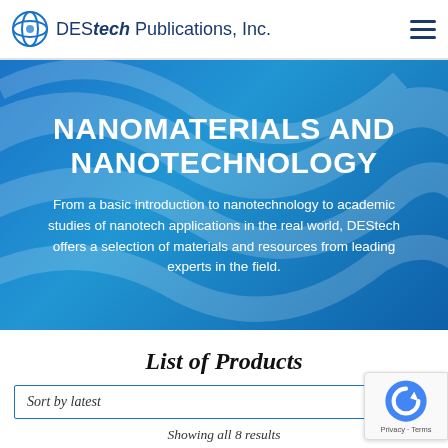DEStech Publications, Inc.
NANOMATERIALS AND NANOTECHNOLOGY
From a basic introduction to nanotechnology to academic studies of nanotech applications in the real world, DEStech offers a selection of materials and resources from leading experts in the field.
List of Products
Sort by latest
Showing all 8 results